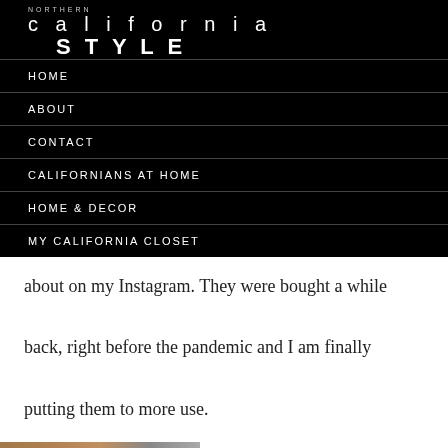NORTHERN california STYLE
HOME
ABOUT
CONTACT
CALIFORNIANS AT HOME
HOME & DECOR
MY CALIFORNIA CLOSET
about on my Instagram. They were bought a while back, right before the pandemic and I am finally putting them to more use.
[Figure (photo): Partial image visible at bottom of page]